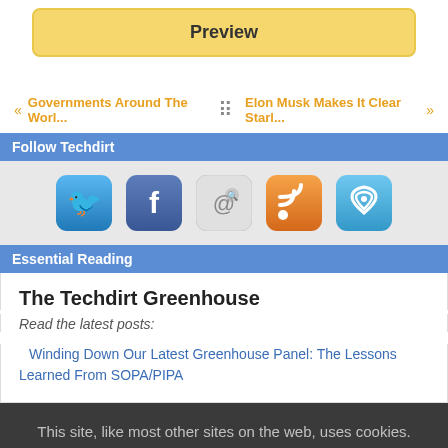[Figure (screenshot): Yellow Preview button at top]
<< Governments Around The Worl...   Elon Musk Makes It Clear Starl... >>
Follow Techdirt
[Figure (infographic): Social media icons: Twitter, Facebook, Email, RSS, WiFi/App]
Essential Reading
The Techdirt Greenhouse
Read the latest posts:
Winding Down Our Latest Greenhouse Panel: The Lessons Learned From SOPA/PIPA
This site, like most other sites on the web, uses cookies. For more information, see our privacy policy
[Figure (screenshot): GOT IT button]